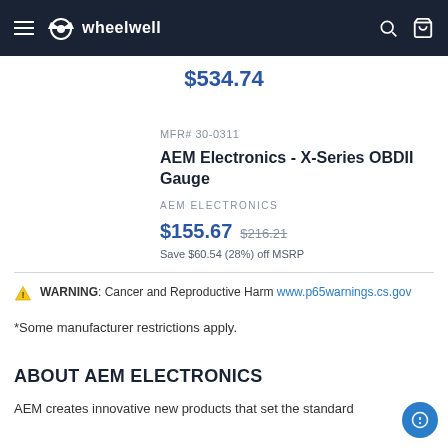wheelwell (navigation bar)
$534.74
MFR# 30-0311
AEM Electronics - X-Series OBDII Gauge
AEM ELECTRONICS
$155.67  $216.21  Save $60.54 (28%) off MSRP
WARNING: Cancer and Reproductive Harm www.p65warnings.cs.gov
*Some manufacturer restrictions apply.
ABOUT AEM ELECTRONICS
AEM creates innovative new products that set the standard